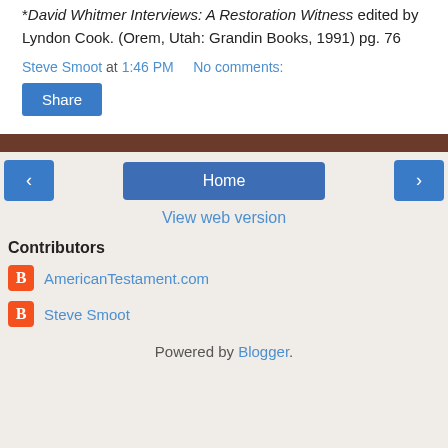*David Whitmer Interviews: A Restoration Witness edited by Lyndon Cook. (Orem, Utah: Grandin Books, 1991) pg. 76
Steve Smoot at 1:46 PM   No comments:
Share
Home
View web version
Contributors
AmericanTestament.com
Steve Smoot
Powered by Blogger.